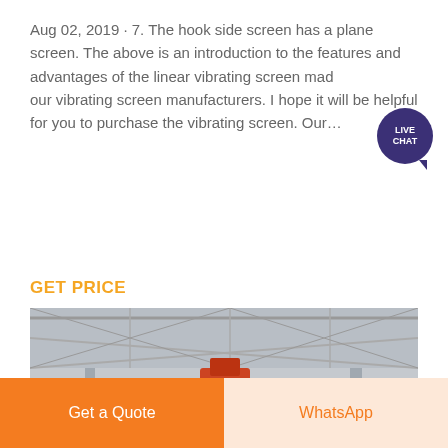Aug 02, 2019 · 7. The hook side screen has a plane screen. The above is an introduction to the features and advantages of the linear vibrating screen made by our vibrating screen manufacturers. I hope it will be helpful for you to purchase the vibrating screen. Our…
GET PRICE
[Figure (photo): Industrial vibrating screen machine inside a large factory/warehouse. The machine is large, grey/dark colored with red accents, multi-deck circular vibrating screen on a steel frame, sitting on a factory floor.]
Get a Quote
WhatsApp